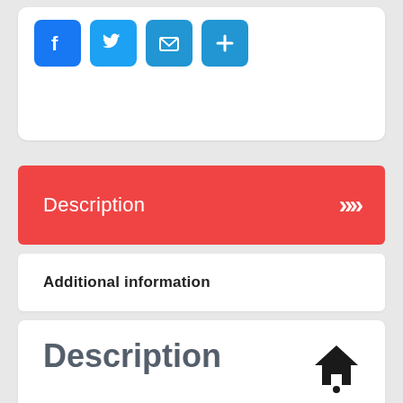[Figure (screenshot): Social share buttons: Facebook (blue F), Twitter (blue bird), Email (blue envelope), Share/Plus (blue plus sign)]
Description
Additional information
Description
Product Details
Cloth Tote Bag